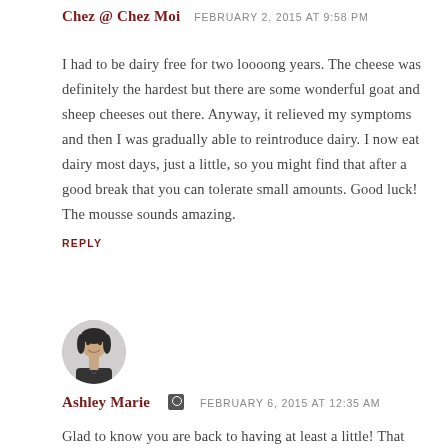Chez @ Chez Moi    FEBRUARY 2, 2015 AT 9:58 PM
I had to be dairy free for two loooong years. The cheese was definitely the hardest but there are some wonderful goat and sheep cheeses out there. Anyway, it relieved my symptoms and then I was gradually able to reintroduce dairy. I now eat dairy most days, just a little, so you might find that after a good break that you can tolerate small amounts. Good luck! The mousse sounds amazing.
REPLY
[Figure (photo): Circular avatar photo of Ashley Marie, a woman with dark hair]
Ashley Marie  [admin icon]   FEBRUARY 6, 2015 AT 12:35 AM
Glad to know you are back to having at least a little! That cheese has got to be the hardest part! Cheese just makes everything